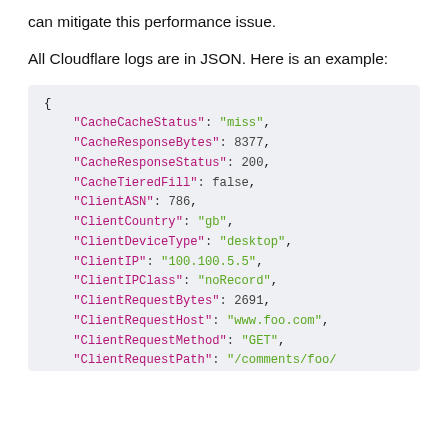can mitigate this performance issue.
All Cloudflare logs are in JSON. Here is an example:
{
  "CacheCacheStatus": "miss",
  "CacheResponseBytes": 8377,
  "CacheResponseStatus": 200,
  "CacheTieredFill": false,
  "ClientASN": 786,
  "ClientCountry": "gb",
  "ClientDeviceType": "desktop",
  "ClientIP": "100.100.5.5",
  "ClientIPClass": "noRecord",
  "ClientRequestBytes": 2691,
  "ClientRequestHost": "www.foo.com",
  "ClientRequestMethod": "GET",
  "ClientRequestPath": "/comments/foo/"
}